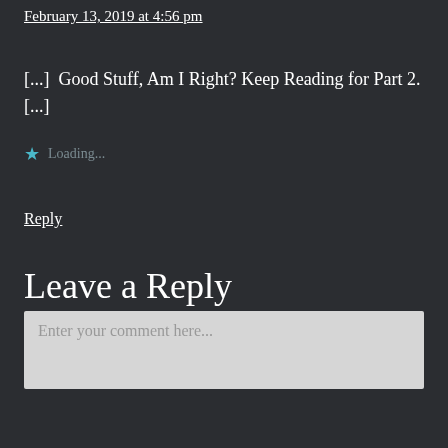February 13, 2019 at 4:56 pm
[...]  Good Stuff, Am I Right? Keep Reading for Part 2. [...]
★ Loading...
Reply
Leave a Reply
Enter your comment here...